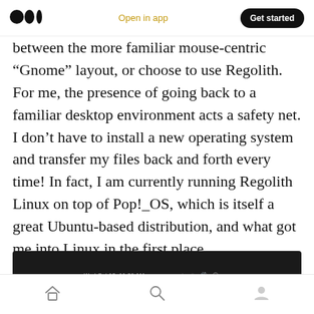Medium logo | Open in app | Get started
between the more familiar mouse-centric “Gnome” layout, or choose to use Regolith. For me, the presence of going back to a familiar desktop environment acts a safety net. I don’t have to install a new operating system and transfer my files back and forth every time! In fact, I am currently running Regolith Linux on top of Pop!_OS, which is itself a great Ubuntu-based distribution, and what got me into Linux in the first place.
[Figure (screenshot): Dark taskbar/status bar of a Linux desktop environment showing date and time: Wed Oct 18, 11:06 AM, with system tray icons on the right.]
Home | Search | Profile navigation icons